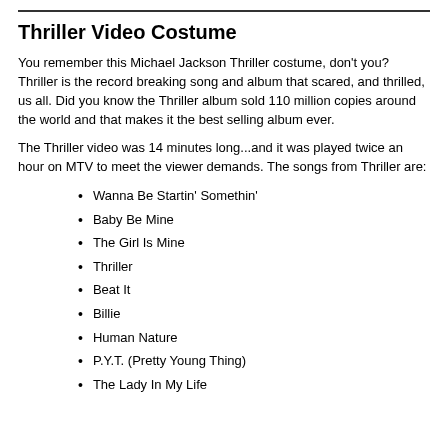Thriller Video Costume
You remember this Michael Jackson Thriller costume, don't you? Thriller is the record breaking song and album that scared, and thrilled, us all. Did you know the Thriller album sold 110 million copies around the world and that makes it the best selling album ever.
The Thriller video was 14 minutes long...and it was played twice an hour on MTV to meet the viewer demands. The songs from Thriller are:
Wanna Be Startin' Somethin'
Baby Be Mine
The Girl Is Mine
Thriller
Beat It
Billie
Human Nature
P.Y.T. (Pretty Young Thing)
The Lady In My Life